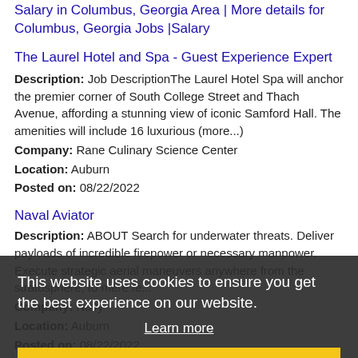Salary in Columbus, Georgia Area | More details for Columbus, Georgia Jobs |Salary
The Laurel Hotel and Spa - Guest Experience Expert
Description: Job DescriptionThe Laurel Hotel Spa will anchor the premier corner of South College Street and Thach Avenue, affording a stunning view of iconic Samford Hall. The amenities will include 16 luxurious (more...)
Company: Rane Culinary Science Center
Location: Auburn
Posted on: 08/22/2022
Naval Aviator
Description: ABOUT Search for underwater threats. Deliver payloads of incredible firepower or necessary manpower. Execute strategic aerial maneuvers anywhere from the stratosphere, to mere fe...
Company: Navy
Location: Auburn
Posted on: 08/22/2022
Merchandiser - SAM'S CLUB
Description: Overview:At Acosta we work with major consumer brands CPG . These Retail Coverage Merchandisers represent our
This website uses cookies to ensure you get the best experience on our website.
Learn more
Got it!